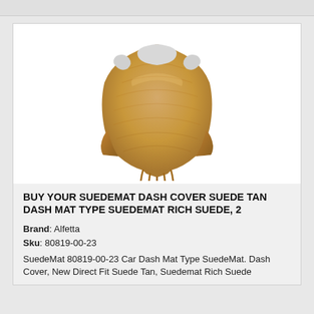[Figure (photo): Product photo of a tan suede dash mat/cover shaped to fit a car dashboard, shown on white background. The mat has a curved shape with cutouts at the top.]
BUY YOUR SUEDEMAT DASH COVER SUEDE TAN DASH MAT TYPE SUEDEMAT RICH SUEDE, 2
Brand: Alfetta
Sku: 80819-00-23
SuedeMat 80819-00-23 Car Dash Mat Type SuedeMat. Dash Cover, New Direct Fit Suede Tan, Suedemat Rich Suede